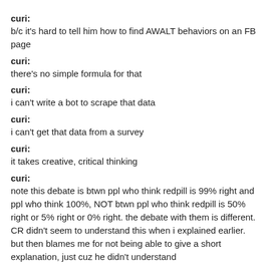curi:
b/c it's hard to tell him how to find AWALT behaviors on an FB page
curi:
there's no simple formula for that
curi:
i can't write a bot to scrape that data
curi:
i can't get that data from a survey
curi:
it takes creative, critical thinking
curi:
note this debate is btwn ppl who think redpill is 99% right and ppl who think 100%, NOT btwn ppl who think redpill is 50% right or 5% right or 0% right. the debate with them is different. CR didn't seem to understand this when i explained earlier. but then blames me for not being able to give a short explanation, just cuz he didn't understand